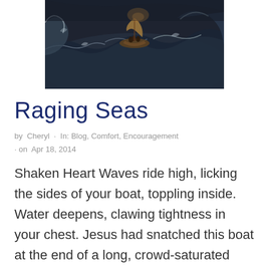[Figure (photo): Dramatic painting of a small boat with people in raging stormy seas, with large waves and dark sky]
Raging Seas
by Cheryl · In: Blog, Comfort, Encouragement · on Apr 18, 2014
Shaken Heart Waves ride high, licking the sides of your boat, toppling inside. Water deepens, clawing tightness in your chest. Jesus had snatched this boat at the end of a long, crowd-saturated day, so he